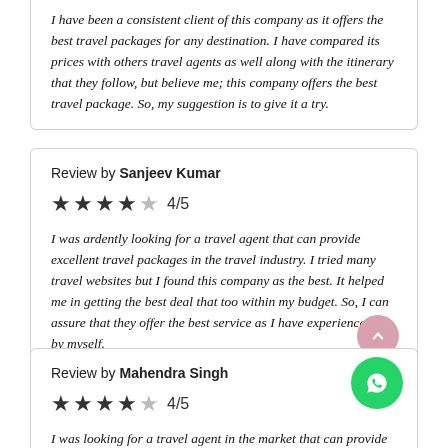I have been a consistent client of this company as it offers the best travel packages for any destination. I have compared its prices with others travel agents as well along with the itinerary that they follow, but believe me; this company offers the best travel package. So, my suggestion is to give it a try.
Review by Sanjeev Kumar
4/5
I was ardently looking for a travel agent that can provide excellent travel packages in the travel industry. I tried many travel websites but I found this company as the best. It helped me in getting the best deal that too within my budget. So, I can assure that they offer the best service as I have experienced it by myself.
Review by Mahendra Singh
4/5
I was looking for a travel agent in the market that can provide